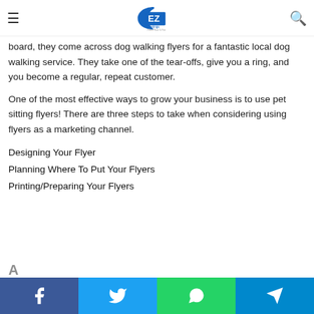EZPostings - Perfect Place To Post
board, they come across dog walking flyers for a fantastic local dog walking service. They take one of the tear-offs, give you a ring, and you become a regular, repeat customer.
One of the most effective ways to grow your business is to use pet sitting flyers! There are three steps to take when considering using flyers as a marketing channel.
Designing Your Flyer
Planning Where To Put Your Flyers
Printing/Preparing Your Flyers
Facebook | Twitter | WhatsApp | Telegram